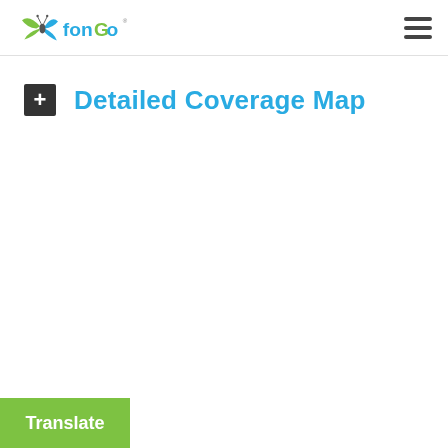Fongo logo and navigation menu
Detailed Coverage Map
Translate